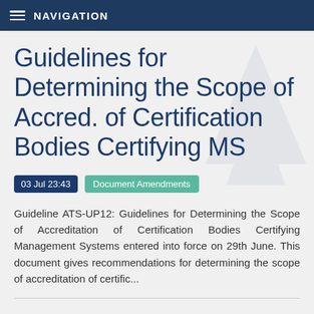NAVIGATION
Guidelines for Determining the Scope of Accred. of Certification Bodies Certifying MS
03 Jul 23:43   Document Amendments
Guideline ATS-UP12: Guidelines for Determining the Scope of Accreditation of Certification Bodies Certifying Management Systems entered into force on 29th June. This document gives recommendations for determining the scope of accreditation of certific...